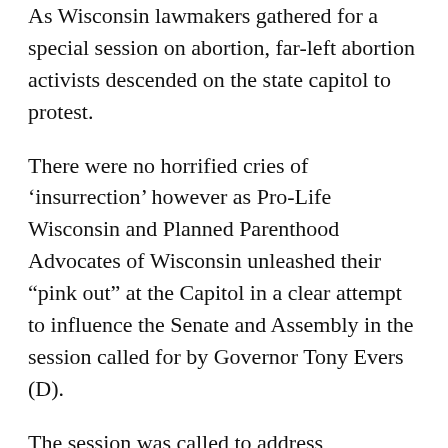As Wisconsin lawmakers gathered for a special session on abortion, far-left abortion activists descended on the state capitol to protest.
There were no horrified cries of ‘insurrection’ however as Pro-Life Wisconsin and Planned Parenthood Advocates of Wisconsin unleashed their “pink out” at the Capitol in a clear attempt to influence the Senate and Assembly in the session called for by Governor Tony Evers (D).
The session was called to address Wisconsin’s abortion ban that had gone into effect in 1849 and will become the law again if the U.S. Supreme Court reverses the 1973 Roe v. Wade decision which made abortions legal across the nation. But the